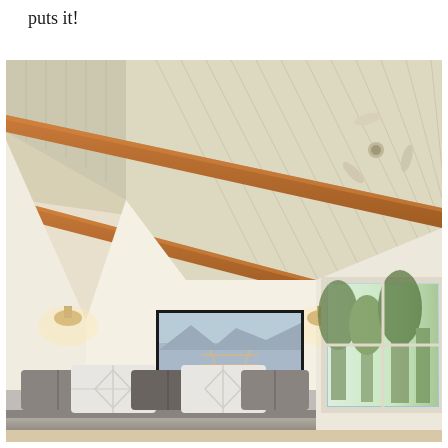puts it!
[Figure (photo): Interior bedroom photo showing a wood-paneled vaulted ceiling with exposed timber beams, ceiling fan, two wall sconce lights, a framed landscape artwork of a dock on water, a window with a view of trees, and a bed with white and grey pillows in the foreground.]